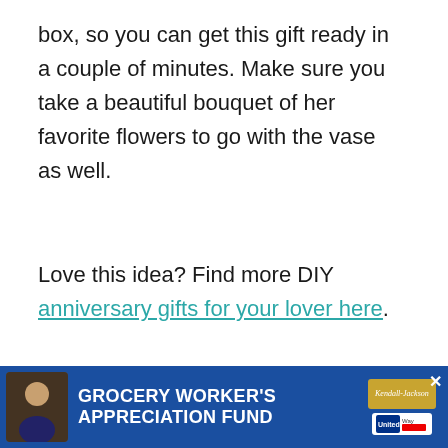box, so you can get this gift ready in a couple of minutes. Make sure you take a beautiful bouquet of her favorite flowers to go with the vase as well.
Love this idea? Find more DIY anniversary gifts for your lover here.
5. Collage
[Figure (photo): Partial view of a photo collage gift with circular framed couple photos on a white background, partially visible]
[Figure (infographic): Advertisement banner: GROCERY WORKER'S APPRECIATION FUND with Kendall Jackson and United Way logos, blue background with close button]